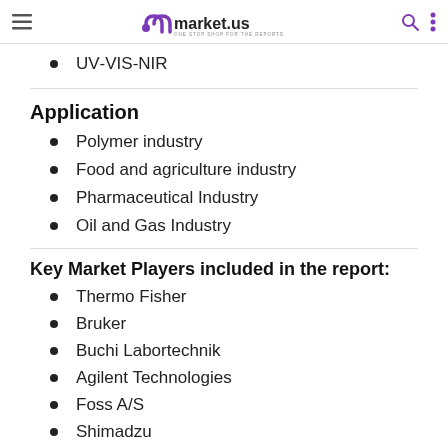market.us — ONE STOP SHOP FOR THE REPORTS
UV-VIS-NIR
Application
Polymer industry
Food and agriculture industry
Pharmaceutical Industry
Oil and Gas Industry
Key Market Players included in the report:
Thermo Fisher
Bruker
Buchi Labortechnik
Agilent Technologies
Foss A/S
Shimadzu